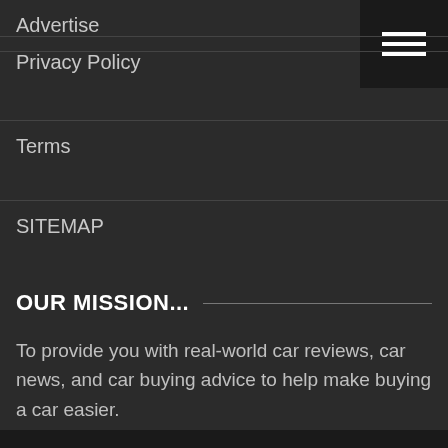Advertise
Privacy Policy
Terms
SITEMAP
OUR MISSION...
To provide you with real-world car reviews, car news, and car buying advice to help make buying a car easier.